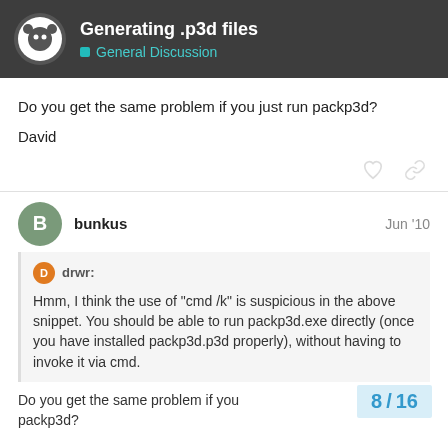Generating .p3d files | General Discussion
Do you get the same problem if you just run packp3d?
David
bunkus  Jun '10
drwr:
Hmm, I think the use of “cmd /k” is suspicious in the above snippet. You should be able to run packp3d.exe directly (once you have installed packp3d.p3d properly), without having to invoke it via cmd.
Do you get the same problem if you just run packp3d?
8 / 16